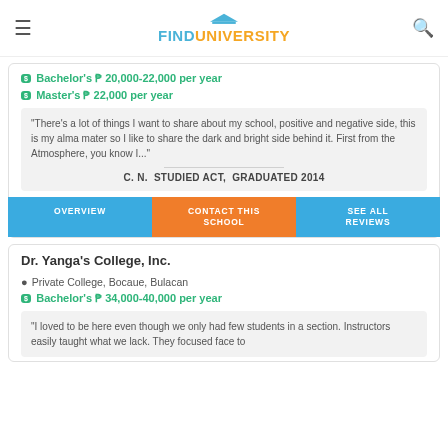FINDUNIVERSITY
Bachelor's ₱ 20,000-22,000 per year
Master's ₱ 22,000 per year
"There's a lot of things I want to share about my school, positive and negative side, this is my alma mater so I like to share the dark and bright side behind it. First from the Atmosphere, you know I..."
C. N.  STUDIED ACT,  GRADUATED 2014
OVERVIEW | CONTACT THIS SCHOOL | SEE ALL REVIEWS
Dr. Yanga's College, Inc.
Private College, Bocaue, Bulacan
Bachelor's ₱ 34,000-40,000 per year
"I loved to be here even though we only had few students in a section. Instructors easily taught what we lack. They focused face to